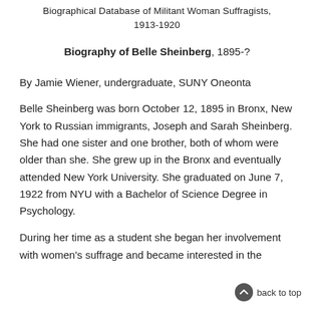Biographical Database of Militant Woman Suffragists, 1913-1920
Biography of Belle Sheinberg, 1895-?
By Jamie Wiener, undergraduate, SUNY Oneonta
Belle Sheinberg was born October 12, 1895 in Bronx, New York to Russian immigrants, Joseph and Sarah Sheinberg. She had one sister and one brother, both of whom were older than she. She grew up in the Bronx and eventually attended New York University. She graduated on June 7, 1922 from NYU with a Bachelor of Science Degree in Psychology.
During her time as a student she began her involvement with women's suffrage and became interested in the